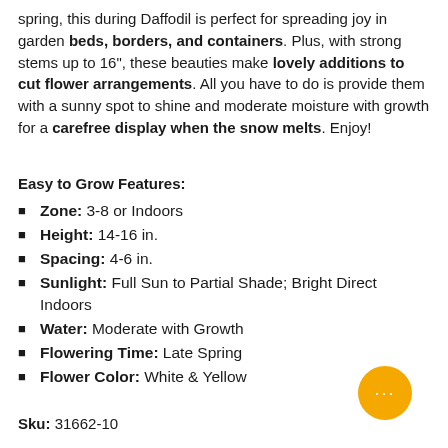spring, this during Daffodil is perfect for spreading joy in garden beds, borders, and containers. Plus, with strong stems up to 16", these beauties make lovely additions to cut flower arrangements. All you have to do is provide them with a sunny spot to shine and moderate moisture with growth for a carefree display when the snow melts. Enjoy!
Easy to Grow Features:
Zone: 3-8 or Indoors
Height: 14-16 in.
Spacing: 4-6 in.
Sunlight: Full Sun to Partial Shade; Bright Direct Indoors
Water: Moderate with Growth
Flowering Time: Late Spring
Flower Color: White & Yellow
Sku: 31662-10